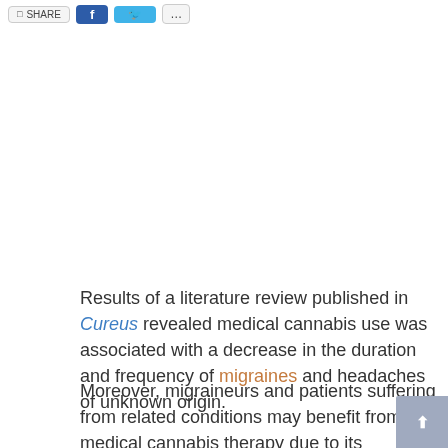[Figure (screenshot): Top navigation bar with share/social buttons: a checkbox-style share button, a Facebook share button (dark blue), a Twitter share button (light blue), and a more options button]
Results of a literature review published in Cureus revealed medical cannabis use was associated with a decrease in the duration and frequency of migraines and headaches of unknown origin.
Moreover, migraineurs and patients suffering from related conditions may benefit from medical cannabis therapy due to its convenience and